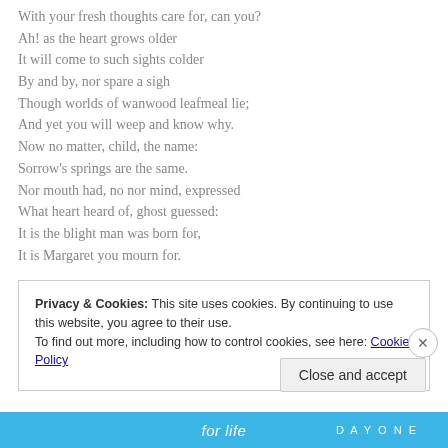With your fresh thoughts care for, can you?
Ah! as the heart grows older
It will come to such sights colder
By and by, nor spare a sigh
Though worlds of wanwood leafmeal lie;
And yet you will weep and know why.
Now no matter, child, the name:
Sorrow's springs are the same.
Nor mouth had, no nor mind, expressed
What heart heard of, ghost guessed:
It is the blight man was born for,
It is Margaret you mourn for.
Privacy & Cookies: This site uses cookies. By continuing to use this website, you agree to their use. To find out more, including how to control cookies, see here: Cookie Policy
Close and accept
for life DAYONE